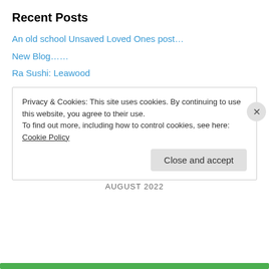Recent Posts
An old school Unsaved Loved Ones post…
New Blog……
Ra Sushi: Leawood
Quad Macchiato Quest 2013…
The Ribald Sophisticate's Guide to Food Fighting…
Best Food of 2012…
Three Years Goes By Fast…
The Squander Logs: #002
AUGUST 2022
Privacy & Cookies: This site uses cookies. By continuing to use this website, you agree to their use.
To find out more, including how to control cookies, see here: Cookie Policy
Close and accept